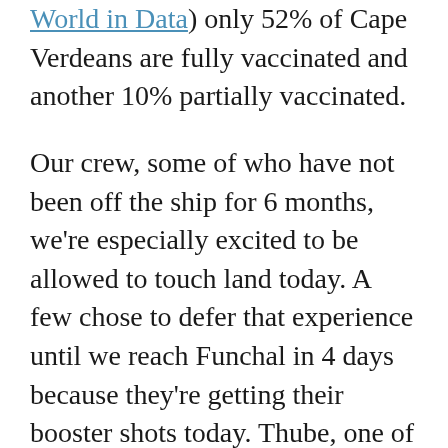World in Data) only 52% of Cape Verdeans are fully vaccinated and another 10% partially vaccinated.

Our crew, some of who have not been off the ship for 6 months, we're especially excited to be allowed to touch land today. A few chose to defer that experience until we reach Funchal in 4 days because they're getting their booster shots today. Thube, one of my World Café favourites, was excited even by the landscape, which she said reminds her of her native Cape Town.